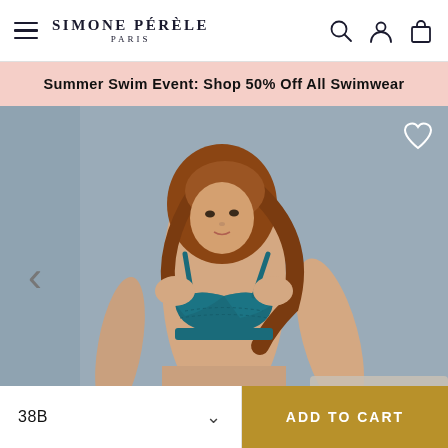SIMONE PÉRÈLE PARIS
Summer Swim Event: Shop 50% Off All Swimwear
[Figure (photo): Female model wearing a teal/blue lace push-up bra, posed against a grey background with left hand on hip]
38B
ADD TO CART